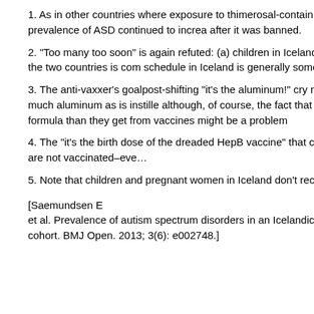1. As in other countries where exposure to thimerosal-containing vaccines was dramatically curtailed, the prevalence of ASD continued to increase after it was banned.
2. “Too many too soon” is again refuted: (a) children in Iceland receive fewer vaccines in the US, but the prevalence of ASD in the two countries is comparable; (b) the vaccine schedule in Iceland is generally somewhat delayed compared to the US.
3. The anti-vaxxer’s goalpost-shifting “it’s the aluminum!” cry must also be addressed: as many vaccines in Iceland provide as much aluminum as is instilled in the US schedule, although, of course, the fact that children receive much more aluminum from breast milk or formula than they get from vaccines might be a problem
4. The “it’s the birth dose of the dreaded HepB vaccine” that causes autism meme is refuted by the fact that babies in Iceland are not vaccinated–even for HepB at birth.
5. Note that children and pregnant women in Iceland don’t receive flu vaccines that might contain thimerosal.
[Saemundsen E et al. Prevalence of autism spectrum disorders in an Icelandic birth cohort. BMJ Open. 2013; 3(6): e002748.]